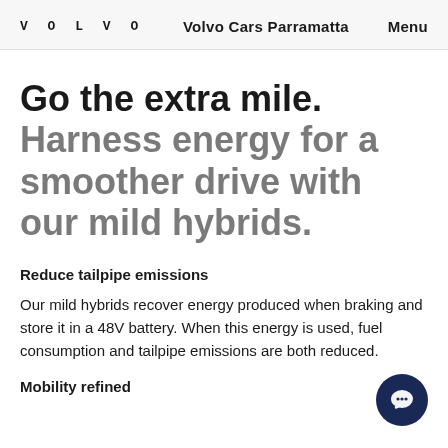VOLVO  Volvo Cars Parramatta  Menu
Go the extra mile. Harness energy for a smoother drive with our mild hybrids.
Reduce tailpipe emissions
Our mild hybrids recover energy produced when braking and store it in a 48V battery. When this energy is used, fuel consumption and tailpipe emissions are both reduced.
Mobility refined